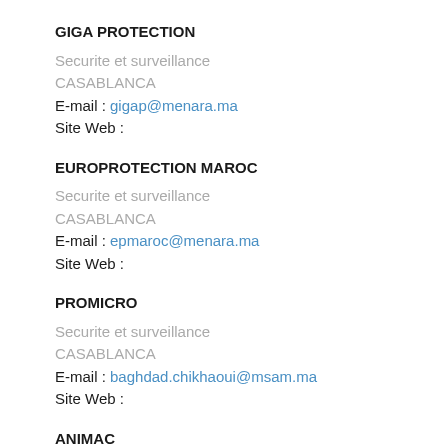GIGA PROTECTION
Securite et surveillance
CASABLANCA
E-mail : gigap@menara.ma
Site Web :
EUROPROTECTION MAROC
Securite et surveillance
CASABLANCA
E-mail : epmaroc@menara.ma
Site Web :
PROMICRO
Securite et surveillance
CASABLANCA
E-mail : baghdad.chikhaoui@msam.ma
Site Web :
ANIMAC